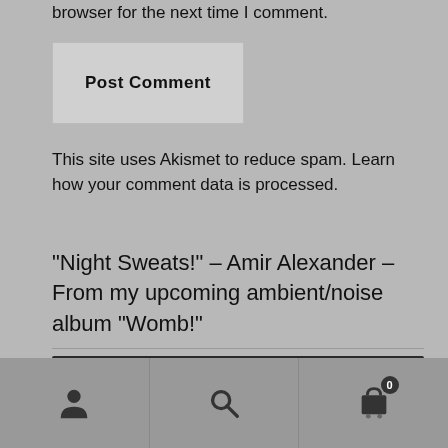browser for the next time I comment.
Post Comment
This site uses Akismet to reduce spam. Learn how your comment data is processed.
“Night Sweats!” – Amir Alexander – From my upcoming ambient/noise album “Womb!”
[Figure (other): Audio player with play button, 00:00 time display, progress bar, and 00:00 end time on dark background]
[Figure (other): Bottom navigation bar with three tabs: user/account icon, search icon, and shopping cart icon with badge showing 0]